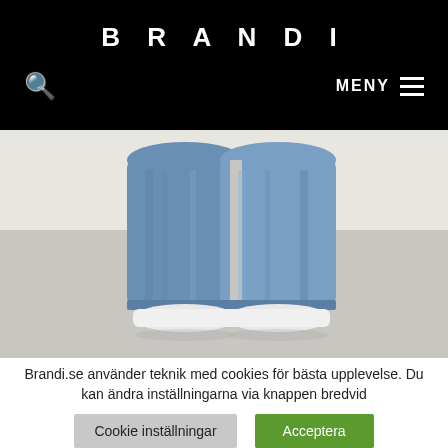BRANDI
[Figure (photo): Close-up photo of legs wearing blue wide-leg jeans and white sneakers, viewed from behind/below, on a light grey background]
Brandi.se använder teknik med cookies för bästa upplevelse. Du kan ändra inställningarna via knappen bredvid
Cookie inställningar
Acceptera